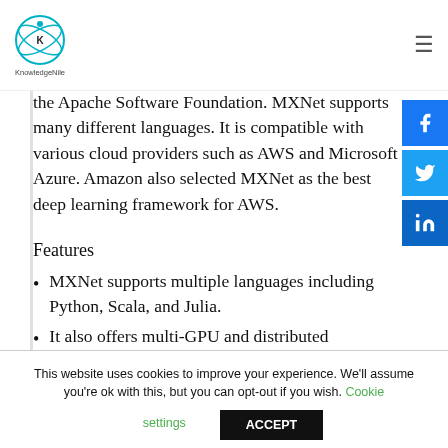KnowledgeNile
the Apache Software Foundation. MXNet supports many different languages. It is compatible with various cloud providers such as AWS and Microsoft Azure. Amazon also selected MXNet as the best deep learning framework for AWS.
Features
MXNet supports multiple languages including Python, Scala, and Julia.
It also offers multi-GPU and distributed
This website uses cookies to improve your experience. We'll assume you're ok with this, but you can opt-out if you wish. Cookie settings ACCEPT